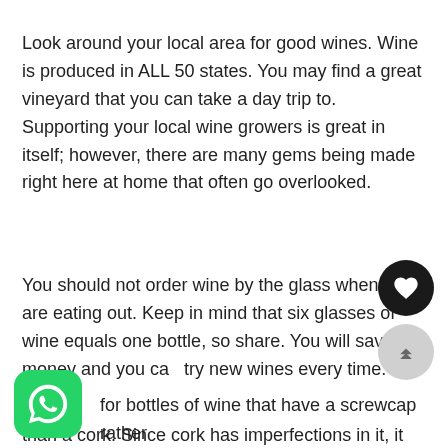Look around your local area for good wines. Wine is produced in ALL 50 states. You may find a great vineyard that you can take a day trip to. Supporting your local wine growers is great in itself; however, there are many gems being made right here at home that often go overlooked.
You should not order wine by the glass when you are eating out. Keep in mind that six glasses of wine equals one bottle, so share. You will save money and you can try new wines every time.
for bottles of wine that have a screwcap rather than a cork. Since cork has imperfections in it, it may